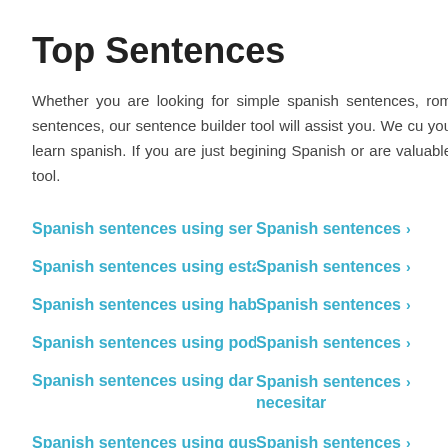Top Sentences
Whether you are looking for simple spanish sentences, romantic sentences, our sentence builder tool will assist you. We cu you learn spanish. If you are just begining Spanish or are valuable tool.
Spanish sentences using ser ›
Spanish sentences ›
Spanish sentences using estar ›
Spanish sentences ›
Spanish sentences using haber ›
Spanish sentences ›
Spanish sentences using poder ›
Spanish sentences ›
Spanish sentences using dar ›
Spanish sentences necesitar ›
Spanish sentences using gustar ›
Spanish sentences ›